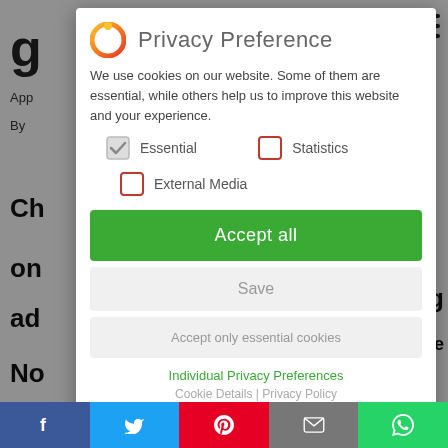[Figure (screenshot): Privacy Preference cookie consent modal dialog overlay on a website. Contains logo, title 'Privacy Preference', description text about cookies, checkboxes for Essential (checked), Statistics (unchecked), External Media (unchecked), Accept all button, Save button, Accept only essential cookies button, Individual Privacy Preferences link, and Cookie Details | Privacy Policy footer links. Background shows partial webpage content with social sharing bar at bottom.]